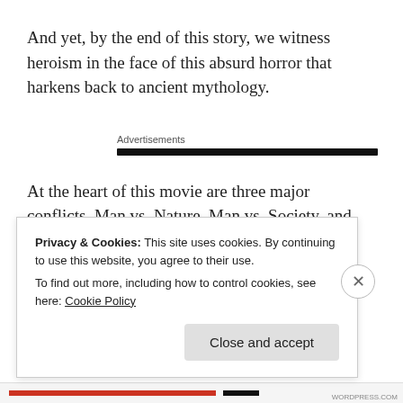And yet, by the end of this story, we witness heroism in the face of this absurd horror that harkens back to ancient mythology.
Advertisements
At the heart of this movie are three major conflicts. Man vs. Nature, Man vs. Society, and Man vs. God;
Privacy & Cookies: This site uses cookies. By continuing to use this website, you agree to their use.
To find out more, including how to control cookies, see here: Cookie Policy
Close and accept